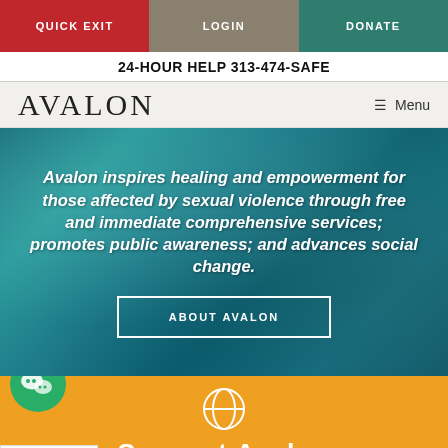QUICK EXIT | LOGIN | DONATE
24-HOUR HELP 313-474-SAFE
AVALON
Menu
[Figure (photo): Teal blue swirling water texture background behind hero text]
Avalon inspires healing and empowerment for those affected by sexual violence through free and immediate comprehensive services; promotes public awareness; and advances social change.
ABOUT AVALON
[Figure (illustration): WeChat messaging app icon in teal circle]
[Figure (illustration): Globe/circle outline icon on orange background]
Support Avalon
English